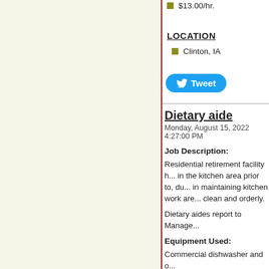$13.00/hr.
LOCATION
Clinton, IA
Tweet
Dietary aide
Monday, August 15, 2022 4:27:00 PM
Job Description:
Residential retirement facility h... in the kitchen area prior to, du... in maintaining kitchen work are... clean and orderly.
Dietary aides report to Manage...
Equipment Used:
Commercial dishwasher and o...
Duties and Responsibilities:
The employee must be able to... reasonable accommodations. considered essential to this po...